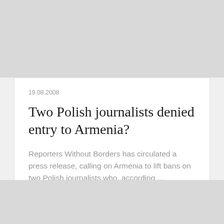19.08.2008
Two Polish journalists denied entry to Armenia?
Reporters Without Borders has circulated a press release, calling on Armenia to lift bans on two Polish journalists who, according …
READ MORE